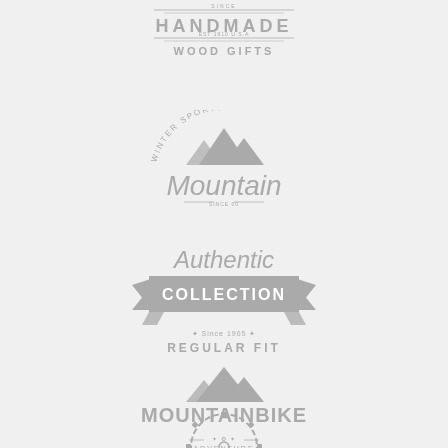[Figure (logo): Handmade Wood Gifts badge logo with horizontal lines and decorative text]
[Figure (logo): Mountain Winter Sports logo with mountain peaks illustration and script text 'Mountain']
[Figure (logo): Authentic Collection Regular Fit badge logo with ribbon banner]
[Figure (logo): Mountainbike Adventure logo with mountain peaks and gear/cog border]